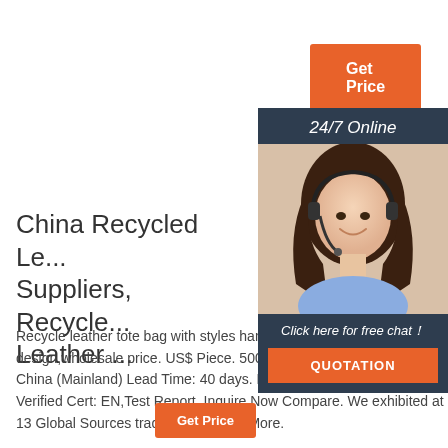[Figure (screenshot): Orange 'Get Price' button]
[Figure (photo): 24/7 Online chat panel with woman wearing headset, 'Click here for free chat!' text and QUOTATION button]
China Recycled Le... Suppliers, Recycle... Leather ...
Recycle leather tote bag with styles handle,shoulder bag,fa... design,wholesale price. US$ Piece. 500 Pieces (Min. Orde... Port: China (Mainland) Lead Time: 40 days. Freight Cost Available. Verified Cert: EN,Test Report. Inquire Now Compare. We exhibited at 13 Global Sources trade shows View More.
[Figure (logo): TOP logo with orange dots above text]